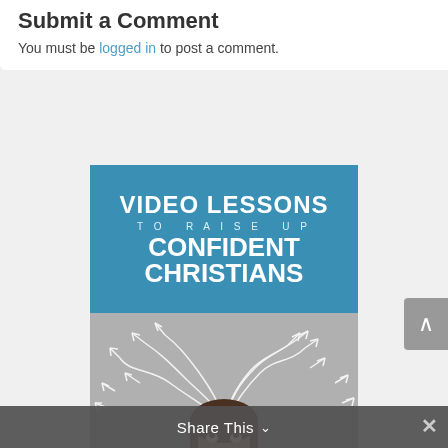Submit a Comment
You must be logged in to post a comment.
[Figure (illustration): Book cover for 'Video Lessons to Raise Up Confident Christians' showing a blue header with white bold text and a grayscale photo of a person looking up with white chaotic arrows above their head]
Share This